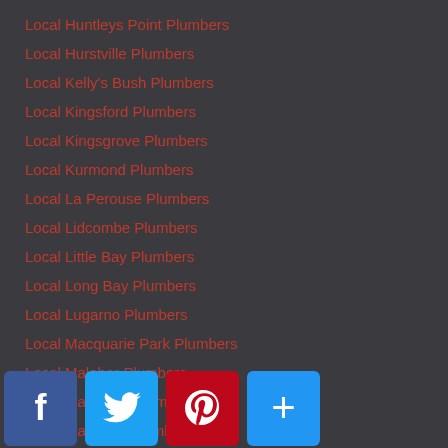Local Huntleys Point Plumbers
Local Hurstville Plumbers
Local Kelly's Bush Plumbers
Local Kingsford Plumbers
Local Kingsgrove Plumbers
Local Kurmond Plumbers
Local La Perouse Plumbers
Local Lidcombe Plumbers
Local Little Bay Plumbers
Local Long Bay Plumbers
Local Lugarno Plumbers
Local Macquarie Park Plumbers
Local Malabar Plumbers
Local Maroubra Plumbers
Local Marsfield Plumbers
Local Mascot Plumbers
Local Matraville Plumbers
Local Meadowbank Plumbers
Local Middle Head Plumbers